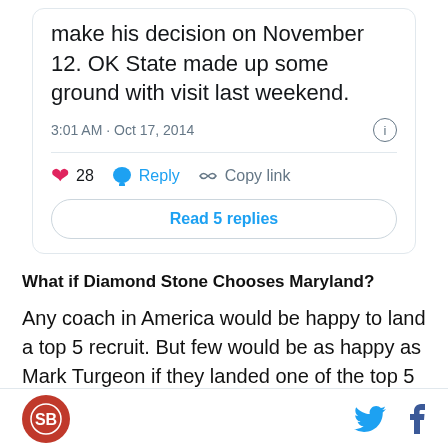make his decision on November 12. OK State made up some ground with visit last weekend.
3:01 AM · Oct 17, 2014
28  Reply  Copy link
Read 5 replies
What if Diamond Stone Chooses Maryland?
Any coach in America would be happy to land a top 5 recruit. But few would be as happy as Mark Turgeon if they landed one of the top 5 players in the 2015 class. Mark Turgeon's struggles at Maryland have